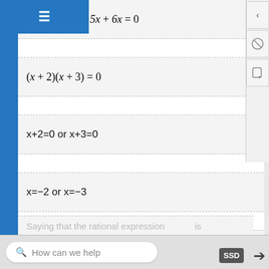x+2=0 or x+3=0
x=−2 or x=−3
Saying that the rational expression ... is ...